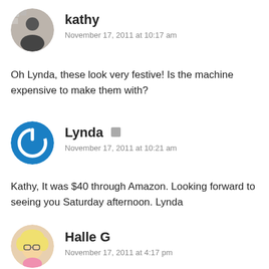[Figure (photo): Circular avatar photo of user kathy]
kathy
November 17, 2011 at 10:17 am
Oh Lynda, these look very festive! Is the machine expensive to make them with?
[Figure (logo): Circular blue power-button logo avatar for Lynda]
Lynda
November 17, 2011 at 10:21 am
Kathy, It was $40 through Amazon. Looking forward to seeing you Saturday afternoon. Lynda
[Figure (photo): Circular avatar illustration of user Halle G]
Halle G
November 17, 2011 at 4:17 pm
Makes me think of Norwegian krumkake, except flat. Oh so yummy!!
http://halleshobbies.blogspot.com/2008/12/krumkake.html
http://halleshobbies.blogspot.com/2009/12/merry